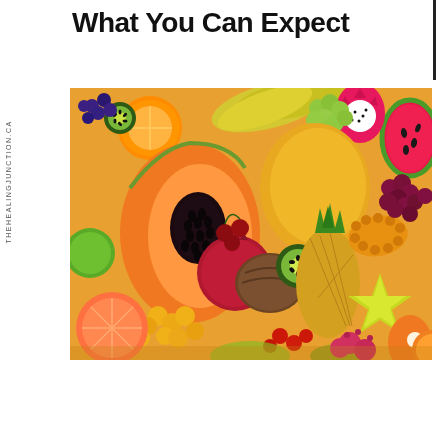What You Can Expect
[Figure (photo): A colorful overhead arrangement of various tropical and exotic fruits including papaya, pineapple, watermelon, dragon fruit, kiwi, grapes, mango, pomegranate, coconut, oranges, bananas, starfruit, and other assorted fruits.]
THEHEALINGJUNCTION.CA